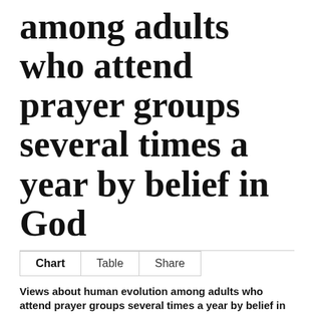among adults who attend prayer groups several times a year by belief in God
Chart | Table | Share
Views about human evolution among adults who attend prayer groups several times a year by belief in God